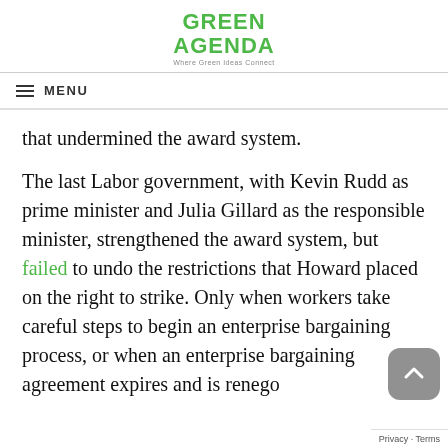GREEN AGENDA
Where Green Ideas Connect
that undermined the award system.
The last Labor government, with Kevin Rudd as prime minister and Julia Gillard as the responsible minister, strengthened the award system, but failed to undo the restrictions that Howard placed on the right to strike. Only when workers take careful steps to begin an enterprise bargaining process, or when an enterprise bargaining agreement expires and is renego